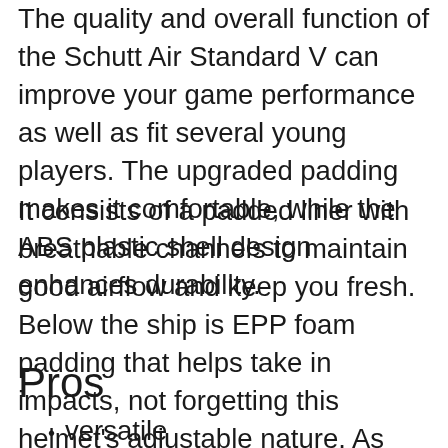The quality and overall function of the Schutt Air Standard V can improve your game performance as well as fit several young players. The upgraded padding makes it comfortable, while the ABS plastic shell design enhances durability.
It consists of a padded liner with breathable channels to maintain good airflow and keep you fresh. Below the ship is EPP foam padding that helps take in impacts, not forgetting this helmet’s adjustable nature. As one of the best football helmets in 2021 has lighter padding than the traditional foam.
Pros
versatile